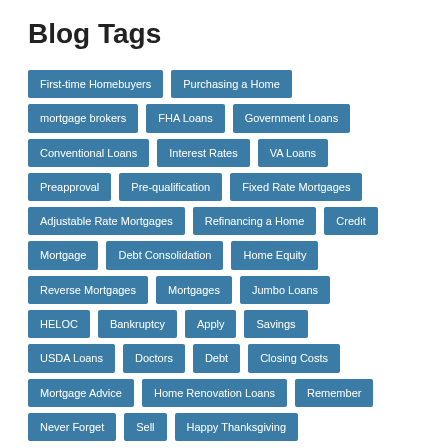Blog Tags
First-time Homebuyers
Purchasing a Home
mortgage brokers
FHA Loans
Government Loans
Conventional Loans
Interest Rates
VA Loans
Preapproval
Pre-qualification
Fixed Rate Mortgages
Adjustable Rate Mortgages
Refinancing a Home
Credit
Mortgage
Debt Consolidation
Home Equity
Reverse Mortgages
Mortgages
Jumbo Loans
HELOC
Bankruptcy
Apply
Savings
USDA Loans
Doctors
Debt
Closing Costs
Mortgage Advice
Home Renovation Loans
Remember
Never Forget
Sell
Happy Thanksgiving